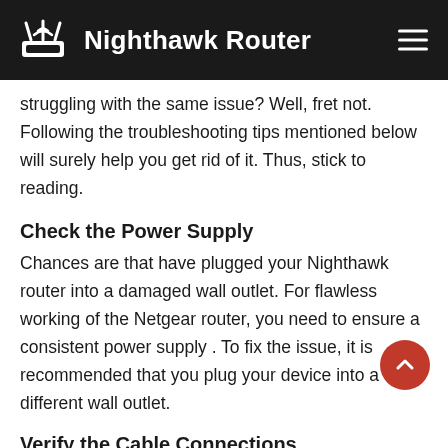Nighthawk Router
struggling with the same issue? Well, fret not. Following the troubleshooting tips mentioned below will surely help you get rid of it. Thus, stick to reading.
Check the Power Supply
Chances are that have plugged your Nighthawk router into a damaged wall outlet. For flawless working of the Netgear router, you need to ensure a consistent power supply . To fix the issue, it is recommended that you plug your device into a different wall outlet.
Verify the Cable Connections
Check all the cable connections that you made while